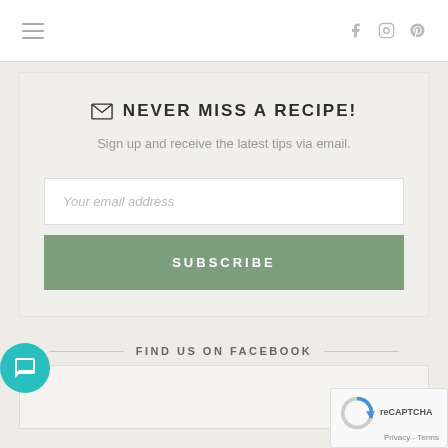Navigation bar with hamburger menu and social icons (Facebook, Instagram, Pinterest)
NEVER MISS A RECIPE!
Sign up and receive the latest tips via email.
Your email address
SUBSCRIBE
FIND US ON FACEBOOK